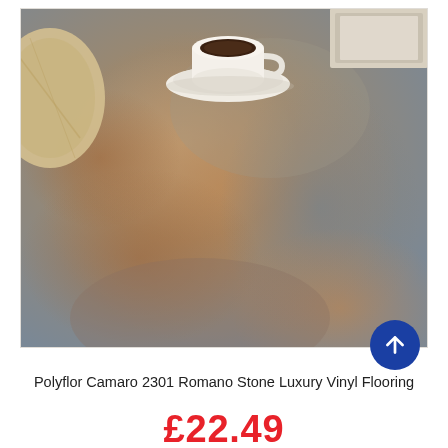[Figure (photo): Photo of a stone-effect luxury vinyl floor tile showing a mottled rust, brown, and grey slate-look pattern. A white coffee cup and saucer sit on the floor along with a beige cushion and a silver tray in the upper portion of the image.]
Polyflor Camaro 2301 Romano Stone Luxury Vinyl Flooring
£22.49